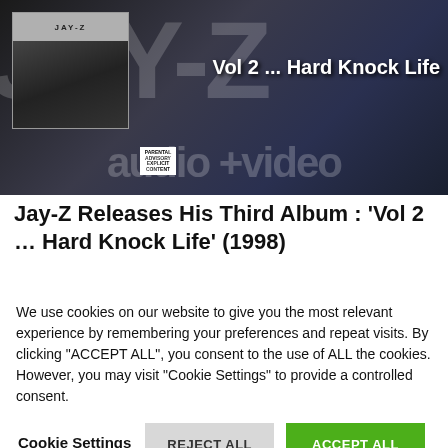[Figure (screenshot): Jay-Z album cover for 'Vol 2 ... Hard Knock Life' with large JAY-Z watermark text and 'audio + video' text overlay on dark background]
Jay-Z Releases His Third Album : 'Vol 2 … Hard Knock Life' (1998)
We use cookies on our website to give you the most relevant experience by remembering your preferences and repeat visits. By clicking "ACCEPT ALL", you consent to the use of ALL the cookies. However, you may visit "Cookie Settings" to provide a controlled consent.